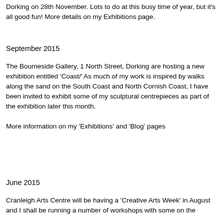Dorking on 28th November.  Lots to do at this busy time of year, but it's all good fun!  More details on my Exhibitions page.
September 2015
The Bourneside Gallery, 1 North Street, Dorking are hosting a new exhibition entitled 'Coast/'  As much of my work is inspired by walks along the sand on the South Coast and North Cornish Coast, I have been invited to exhibit some of my sculptural centrepieces as part of the exhibition later this month.
More information on my 'Exhibitions' and 'Blog' pages
June 2015
Cranleigh Arts Centre will be having a 'Creative Arts Week' in August and I shall be running a number of workshops with some on the...